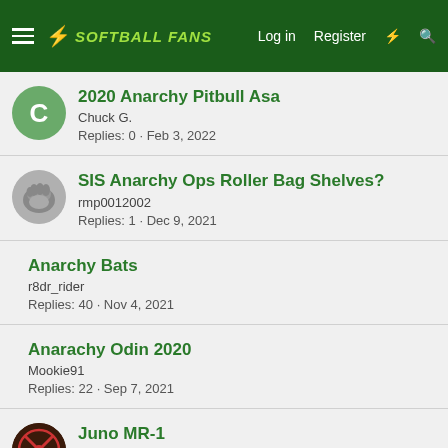SOFTBALL FANS — Log in  Register
2020 Anarchy Pitbull Asa
Chuck G.
Replies: 0 · Feb 3, 2022
SIS Anarchy Ops Roller Bag Shelves?
rmp0012002
Replies: 1 · Dec 9, 2021
Anarchy Bats
r8dr_rider
Replies: 40 · Nov 4, 2021
Anarachy Odin 2020
Mookie91
Replies: 22 · Sep 7, 2021
Juno MR-1
TWmccoy
Replies: 3 · Sep 6, 2021